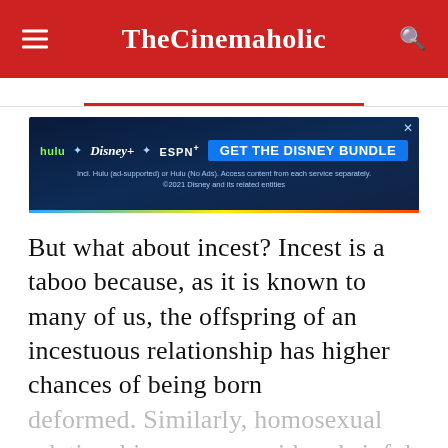TheCinemaholic
[Figure (screenshot): Disney Bundle advertisement banner showing Hulu, Disney+, ESPN+ logos with 'GET THE DISNEY BUNDLE' call-to-action button on dark blue background]
But what about incest? Incest is a taboo because, as it is known to many of us, the offspring of an incestuous relationship has higher chances of being born deformed. Similarly, homosexual relationships were considered sinful because there was no chance of